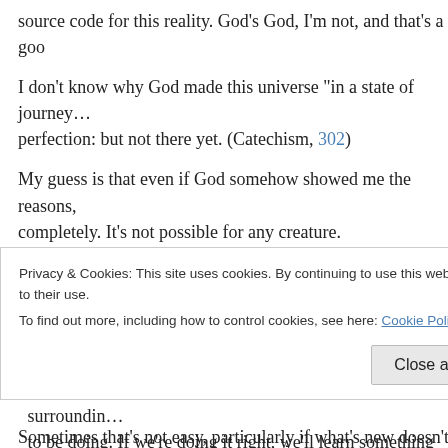source code for this reality. God’s God, I’m not, and that’s a go…
I don’t know why God made this universe “in a state of journey… perfection: but not there yet. (Catechism, 302)
My guess is that even if God somehow showed me the reasons, … completely. It’s not possible for any creature.
God is the Almighty, infinite, eternal, beyond human understand… understand is a good idea. (Catechism, 27, 155, 202, 206–209, 2…
So is using our brains. Noticing the order and beauty surroundin… to be doing. If we’re doing it right, we’ll learn something about…
Privacy & Cookies: This site uses cookies. By continuing to use this website, you agree to their use.
To find out more, including how to control cookies, see here: Cookie Policy
Sometimes that’s not easy, particularly if what’s new doesn’t fit…